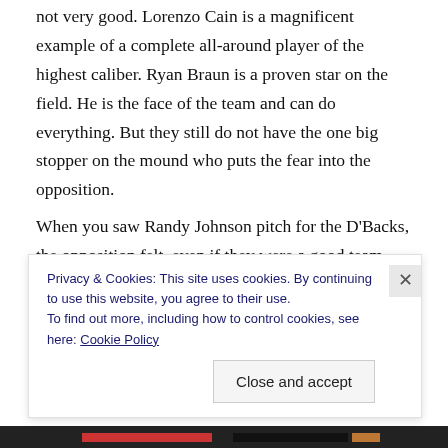not very good. Lorenzo Cain is a magnificent example of a complete all-around player of the highest caliber. Ryan Braun is a proven star on the field. He is the face of the team and can do everything. But they still do not have the one big stopper on the mound who puts the fear into the opposition.
When you saw Randy Johnson pitch for the D'Backs, the opposition felt, even if they were a good team, they had little to no chance of winning. When Madison Bumgarner or Clayton Kershaw are on the mound, same goes. And
Privacy & Cookies: This site uses cookies. By continuing to use this website, you agree to their use.
To find out more, including how to control cookies, see here: Cookie Policy